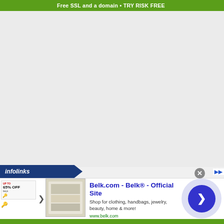Free SSL and a domain • TRY RISK FREE
[Figure (other): Large gray blank content area representing a webpage screenshot with empty main content]
infolinks
[Figure (screenshot): Advertisement banner for Belk.com showing clothing and bedding thumbnails, with title 'Belk.com - Belk® - Official Site', description 'Shop for clothing, handbags, jewelry, beauty, home & more!', URL www.belk.com, and a circular navigation arrow button on the right. A close (X) button appears at top right of the ad.]